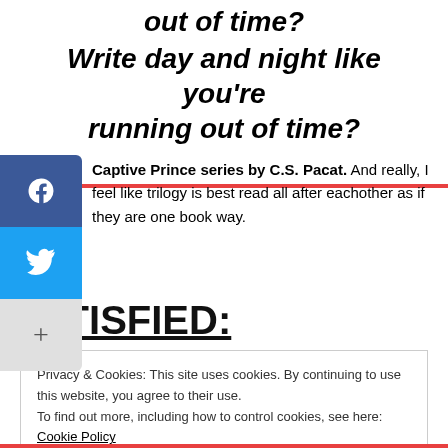out of time? Write day and night like you're running out of time?
Captive Prince series by C.S. Pacat. And really, I feel like trilogy is best read all after eachother as if they are one book way.
SATISFIED:
Privacy & Cookies: This site uses cookies. By continuing to use this website, you agree to their use.
To find out more, including how to control cookies, see here: Cookie Policy
Close and accept